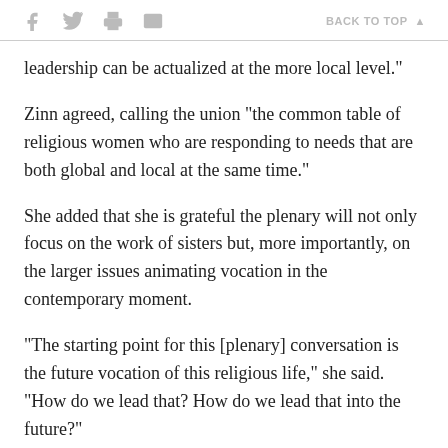f [twitter] [print] [email]   BACK TO TOP ▲
leadership can be actualized at the more local level."
Zinn agreed, calling the union "the common table of religious women who are responding to needs that are both global and local at the same time."
She added that she is grateful the plenary will not only focus on the work of sisters but, more importantly, on the larger issues animating vocation in the contemporary moment.
"The starting point for this [plenary] conversation is the future vocation of this religious life," she said. "How do we lead that? How do we lead that into the future?"